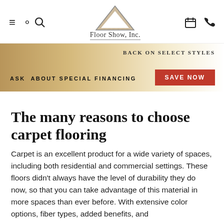[Figure (logo): Floor Show, Inc. logo with triangular wood-grain graphic above the text 'Floor Show, Inc.']
[Figure (screenshot): Website navigation header with hamburger menu, search icon, centered logo, calendar icon, and phone icon]
[Figure (infographic): Promotional banner with wood flooring background, text 'BACK ON SELECT STYLES', 'ASK ABOUT SPECIAL FINANCING' and a red 'SAVE NOW' button]
The many reasons to choose carpet flooring
Carpet is an excellent product for a wide variety of spaces, including both residential and commercial settings. These floors didn't always have the level of durability they do now, so that you can take advantage of this material in more spaces than ever before. With extensive color options, fiber types, added benefits, and